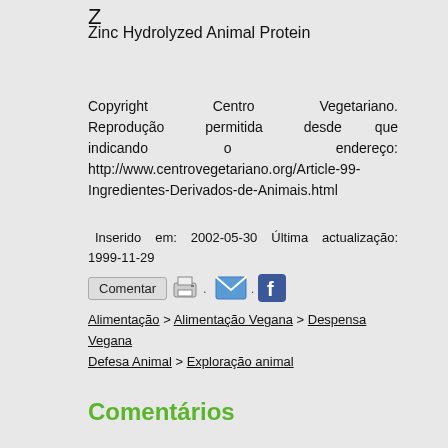Z
Zinc Hydrolyzed Animal Protein
Copyright Centro Vegetariano. Reprodução permitida desde que indicando o endereço: http://www.centrovegetariano.org/Article-99-Ingredientes-Derivados-de-Animais.html
Inserido em: 2002-05-30  Última actualização: 1999-11-29
Comentar [print icon] [email icon] [facebook icon]
Alimentação > Alimentação Vegana > Despensa Vegana
Defesa Animal > Exploração animal
Comentários